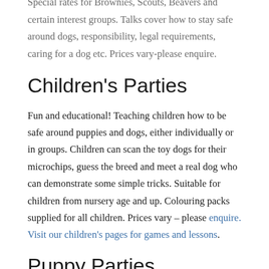talks suitable for children from nursery age and up. Special rates for Brownies, Scouts, Beavers and certain interest groups. Talks cover how to stay safe around dogs, responsibility, legal requirements, caring for a dog etc. Prices vary-please enquire.
Children's Parties
Fun and educational! Teaching children how to be safe around puppies and dogs, either individually or in groups. Children can scan the toy dogs for their microchips, guess the breed and meet a real dog who can demonstrate some simple tricks. Suitable for children from nursery age and up. Colouring packs supplied for all children. Prices vary – please enquire. Visit our children's pages for games and lessons.
Puppy Parties
I am available to either completely host or talk about the importance of socialisation and habituation at veterinary